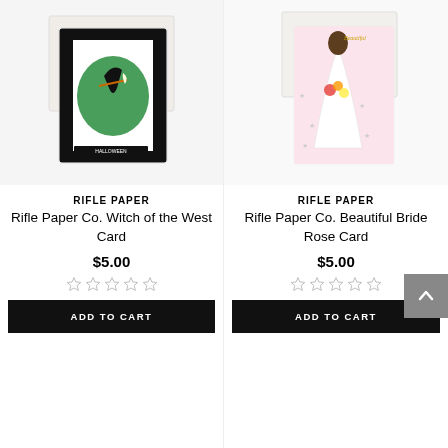[Figure (photo): Rifle Paper Co. Witch of the West Card — greeting card showing a witch on a broomstick with a green circular moon background and decorative Halloween border, with white envelope behind]
RIFLE PAPER
Rifle Paper Co. Witch of the West Card
$5.00
[Figure (other): Five empty star rating icons]
ADD TO CART
[Figure (photo): Rifle Paper Co. Beautiful Bride Rose Card — greeting card showing a bride in a white gown with floral bouquet on pink background with stars, with white envelope behind]
RIFLE PAPER
Rifle Paper Co. Beautiful Bride Rose Card
$5.00
[Figure (other): Five empty star rating icons]
ADD TO CART